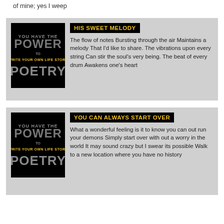of mine; yes I weep
HIS SWEET MELODY
The flow of notes Bursting through the air Maintains a melody That I'd like to share. The vibrations upon every string Can stir the soul's very being. The beat of every drum Awakens one's heart
YOU CAN ALWAYS START OVER
What a wonderful feeling is it to know you can out run your demons Simply start over with out a worry in the world It may sound crazy but I swear its possible Walk to a new location where you have no history